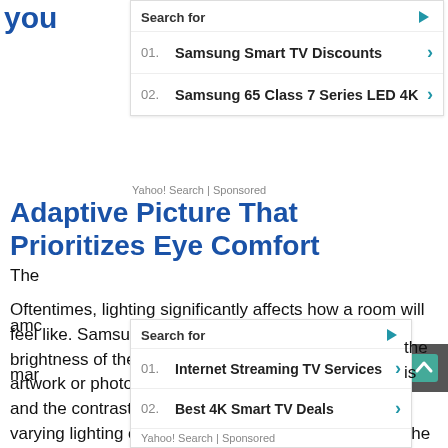you
Search for
01. Samsung Smart TV Discounts
02. Samsung 65 Class 7 Series LED 4K
Yahoo! Search | Sponsored
Adaptive Picture That Prioritizes Eye Comfort
Oftentimes, lighting significantly affects how a room will feel like. Samsung the Frame TV can analyze the brightness of the room and the brightness level of the artwork or photo. It will automatically adjust the brightness and the contrast settings of the television so that the varying lighting conditions will not affect the mood of the setting.
Search for
01. Internet Streaming TV Services
02. Best 4K Smart TV Deals
Yahoo! Search | Sponsored